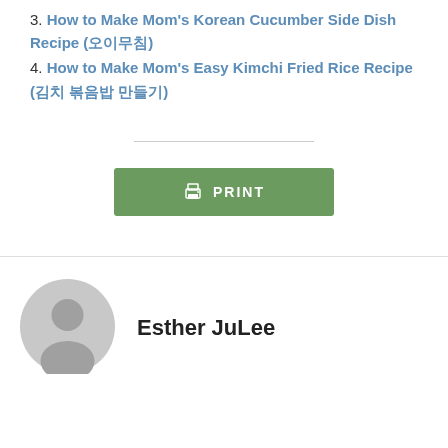3. How to Make Mom's Korean Cucumber Side Dish Recipe (오이무침)
4. How to Make Mom's Easy Kimchi Fried Rice Recipe (김치 볶음밥 만들기)
[Figure (other): Print button with printer icon and label PRINT on green background]
Esther JuLee
[Figure (illustration): Generic gray user avatar/profile icon]